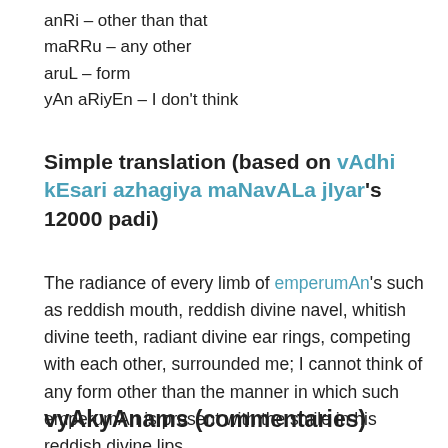anRi – other than that
maRRu – any other
aruL – form
yAn aRiyEn – I don't think
Simple translation (based on vAdhi kEsari azhagiya maNavALa jIyar's 12000 padi)
The radiance of every limb of emperumAn's such as reddish mouth, reddish divine navel, whitish divine teeth, radiant divine ear rings, competing with each other, surrounded me; I cannot think of any form other than the manner in which such emperumAn is present with the smile in his reddish divine lips.
vyAkyAnams (commentaries)